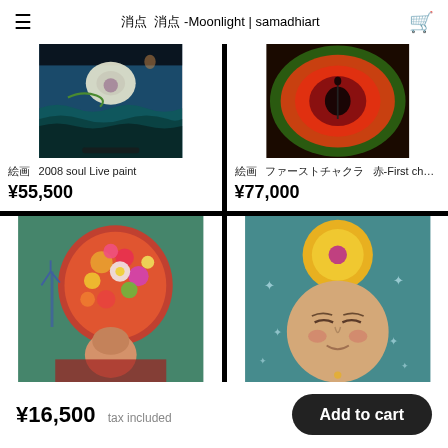☰   月光 -Moonlight | samadhiart   🛒
[Figure (illustration): Colorful painting of moonlight over ocean waves with a large white moon/eye motif in teal and blue tones]
絵画　2008 soul Live paint
¥55,500
[Figure (illustration): Abstract swirling painting in red, orange, green tones with dark center — First chakra theme]
絵画　ファーストチャクラ　赤-First chakra R...
¥77,000
[Figure (illustration): Colorful painting of a woman with large floral headdress in greens, reds, and oranges]
[Figure (illustration): Painting of a meditating face with golden sun/third eye on forehead surrounded by stars on teal background]
¥16,500 tax included
Add to cart